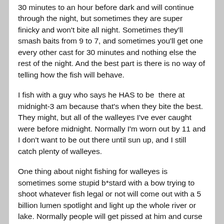30 minutes to an hour before dark and will continue through the night, but sometimes they are super finicky and won't bite all night. Sometimes they'll smash baits from 9 to 7, and sometimes you'll get one every other cast for 30 minutes and nothing else the rest of the night. And the best part is there is no way of telling how the fish will behave.
I fish with a guy who says he HAS to be there at midnight-3 am because that's when they bite the best. They might, but all of the walleyes I've ever caught were before midnight. Normally I'm worn out by 11 and I don't want to be out there until sun up, and I still catch plenty of walleyes.
One thing about night fishing for walleyes is sometimes some stupid b*stard with a bow trying to shoot whatever fish legal or not will come out with a 5 billion lumen spotlight and light up the whole river or lake. Normally people will get pissed at him and curse him out, but I stay out of it. I just pack up and leave. Once that light hits the water, no chance you will catch anything. I want to throw those sunsabitches into the water sometimes lol. I HATE bowfisherman when I'm night fishing. Shine that light somewhere else. They have no respect for others and shine the